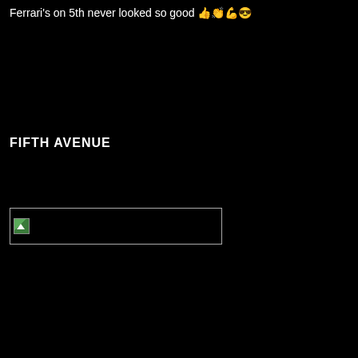Ferrari's on 5th never looked so good 👍👏💪😎
FIFTH AVENUE
[Figure (photo): Broken/missing image placeholder with small icon, wide rectangular border]